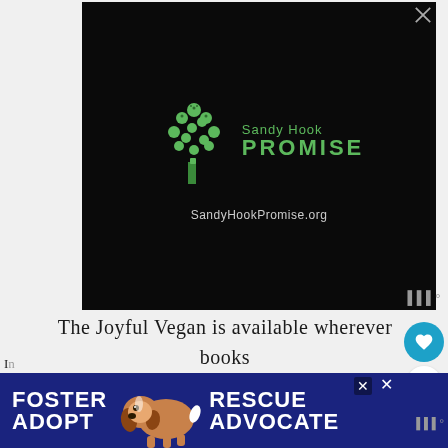[Figure (logo): Sandy Hook Promise advertisement on black background with green tree logo made of handprints, text 'Sandy Hook PROMISE' and 'SandyHookPromise.org']
The Joyful Vegan is available wherever books are sold.
. . . . . . . . . .
[Figure (illustration): Foster Rescue Adopt Advocate banner advertisement with beagle dog photo on dark blue background]